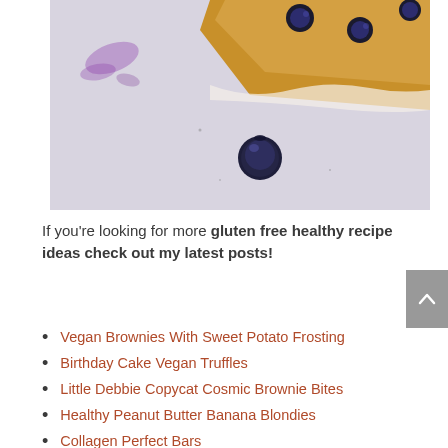[Figure (photo): Close-up overhead photo of a blueberry baked good (scone or bar) on a light purple/white parchment paper with a single blueberry in the foreground and purple berry stains on the paper.]
If you're looking for more gluten free healthy recipe ideas check out my latest posts!
Vegan Brownies With Sweet Potato Frosting
Birthday Cake Vegan Truffles
Little Debbie Copycat Cosmic Brownie Bites
Healthy Peanut Butter Banana Blondies
Collagen Perfect Bars